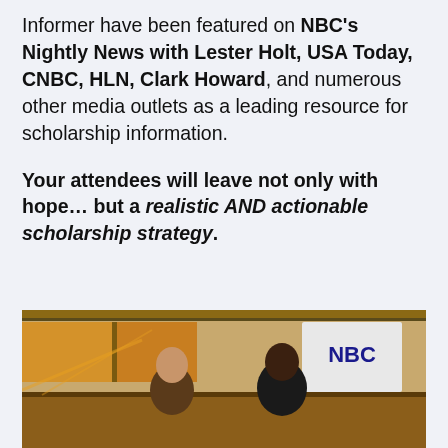Informer have been featured on NBC's Nightly News with Lester Holt, USA Today, CNBC, HLN, Clark Howard, and numerous other media outlets as a leading resource for scholarship information.
Your attendees will leave not only with hope... but a realistic AND actionable scholarship strategy.
[Figure (photo): A TV broadcast scene showing two people on an orange-themed set with the NBC logo visible in the background]